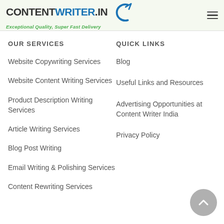CONTENTWRITER.IN — Exceptional Quality, Super Fast Delivery
OUR SERVICES
Website Copywriting Services
Website Content Writing Services
Product Description Writing Services
Article Writing Services
Blog Post Writing
Email Writing & Polishing Services
Content Rewriting Services
QUICK LINKS
Blog
Useful Links and Resources
Advertising Opportunities at Content Writer India
Privacy Policy